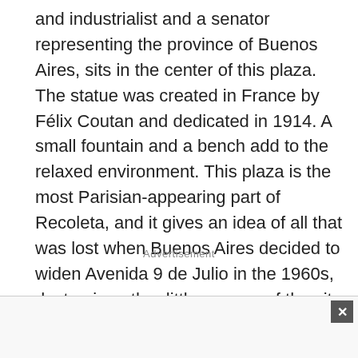and industrialist and a senator representing the province of Buenos Aires, sits in the center of this plaza. The statue was created in France by Félix Coutan and dedicated in 1914. A small fountain and a bench add to the relaxed environment. This plaza is the most Parisian-appearing part of Recoleta, and it gives an idea of all that was lost when Buenos Aires decided to widen Avenida 9 de Julio in the 1960s, destroying other little corners of the city that were similar to this one.
Advertisement
[Figure (other): Advertisement banner area with close button (X) in top-right corner]